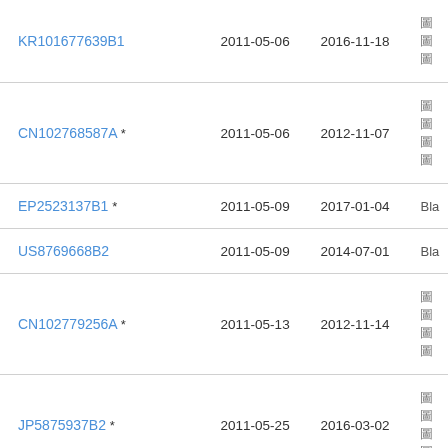| Patent Number | Filing Date | Publication Date | Assignee |
| --- | --- | --- | --- |
| KR101677639B1 | 2011-05-06 | 2016-11-18 | 圖圖圖 |
| CN102768587A * | 2011-05-06 | 2012-11-07 | 圖圖圖圖 |
| EP2523137B1 * | 2011-05-09 | 2017-01-04 | Bla |
| US8769668B2 | 2011-05-09 | 2014-07-01 | Bla |
| CN102779256A * | 2011-05-13 | 2012-11-14 | 圖圖圖圖 |
| JP5875937B2 * | 2011-05-25 | 2016-03-02 | 圖圖圖圖 |
| US8850541B2 | 2011-05-27 | 2014-09-30 | Del |
| US9519763B1 | 2011-05-27 | 2016-12-13 | Del |